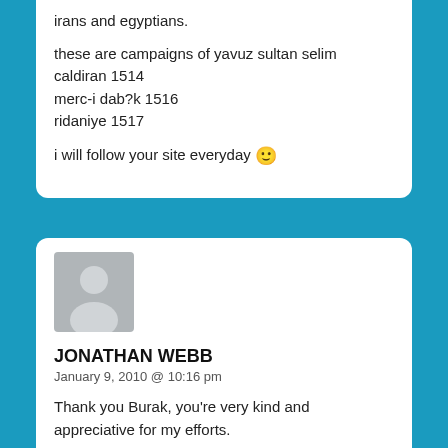irans and egyptians.
these are campaigns of yavuz sultan selim
caldiran 1514
merc-i dab?k 1516
ridaniye 1517
i will follow your site everyday 🙂
[Figure (illustration): Generic user avatar silhouette on grey background]
JONATHAN WEBB
January 9, 2010 @ 10:16 pm
Thank you Burak, you're very kind and appreciative for my efforts.
Do not worry as many Ottoman battles are slated for